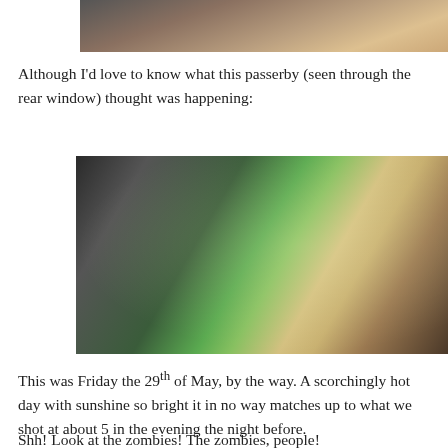[Figure (photo): Partial photo showing the interior of a car, partially cropped at top of page]
Although I'd love to know what this passerby (seen through the rear window) thought was happening:
[Figure (photo): Photo of a man with short blonde hair and sunglasses sitting in the driver's seat of a car, viewed from behind/side. A bright green car sunshade is visible in the side window. The car interior is dark with a steering wheel and infotainment screen visible.]
This was Friday the 29th of May, by the way. A scorchingly hot day with sunshine so bright it in no way matches up to what we shot at about 5 in the evening the night before.
Shh! Look at the zombies! The zombies, people!